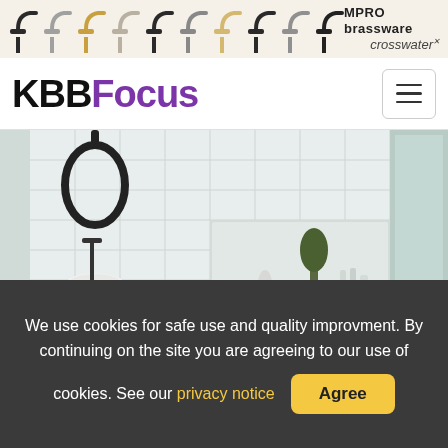[Figure (photo): MPRO brassware by Crosswater advertisement banner showing multiple faucet/tap head icons in various finishes (chrome, gold, black, brushed) against a beige background with brand name MPRO brassware crosswater]
KBBFocus
[Figure (photo): Hero bathroom interior photo showing a modern white tiled bathroom with a freestanding white bathtub, black floor-mounted faucet, round black mirror hanging on the wall, blue floor-standing vanity unit with vessel sink, built-in niche shelf with decorative vases and plant, and natural light from a window]
We use cookies for safe use and quality improvment. By continuing on the site you are agreeing to our use of cookies. See our privacy notice  Agree